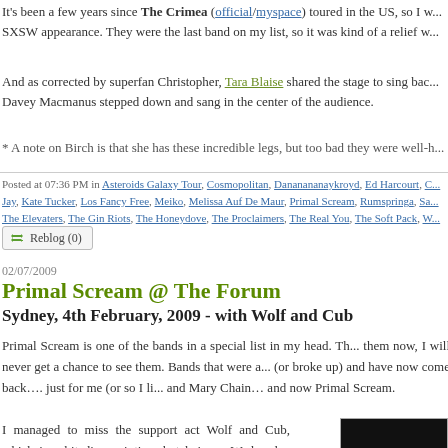It's been a few years since The Crimea (official/myspace) toured in the US, so I w... SXSW appearance. They were the last band on my list, so it was kind of a relief w...
And as corrected by superfan Christopher, Tara Blaise shared the stage to sing bac... Davey Macmanus stepped down and sang in the center of the audience.
* A note on Birch is that she has these incredible legs, but too bad they were well-h...
Posted at 07:36 PM in Asteroids Galaxy Tour, Cosmopolitan, Dananananaykroyd, Ed Harcourt, C... Jay, Kate Tucker, Los Fancy Free, Meiko, Melissa Auf De Maur, Primal Scream, Rumspringa, Sa... The Elevaters, The Gin Riots, The Honeydove, The Proclaimers, The Real You, The Soft Pack, W...
Reblog (0)
02/07/2009
Primal Scream @ The Forum
Sydney, 4th February, 2009 - with Wolf and Cub
Primal Scream is one of the bands in a special list in my head. Th... them now, I will never get a chance to see them. Bands that were a... (or broke up) and have now come back…. just for me (or so I li... and Mary Chain… and now Primal Scream.
I managed to miss the support act Wolf and Cub, which is a bit disappointing, but being a Wednesday night at a venue that really doesn't have the most
[Figure (photo): Dark photo, likely of a concert venue or performer]